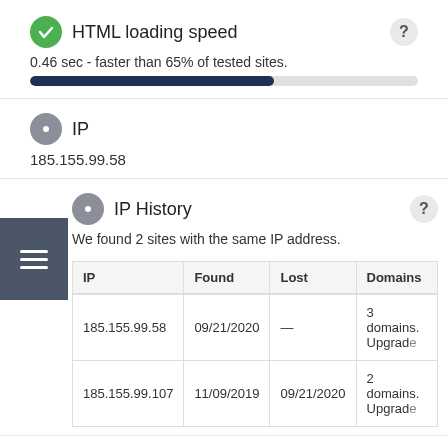HTML loading speed
0.46 sec - faster than 65% of tested sites.
[Figure (other): Progress bar showing HTML loading speed at approximately 63% fill, dark navy color]
IP
185.155.99.58
IP History
We found 2 sites with the same IP address.
| IP | Found | Lost | Domains |
| --- | --- | --- | --- |
| 185.155.99.58 | 09/21/2020 | — | 3 domains. Upgrade |
| 185.155.99.107 | 11/09/2019 | 09/21/2020 | 2 domains. Upgrade |
Server location